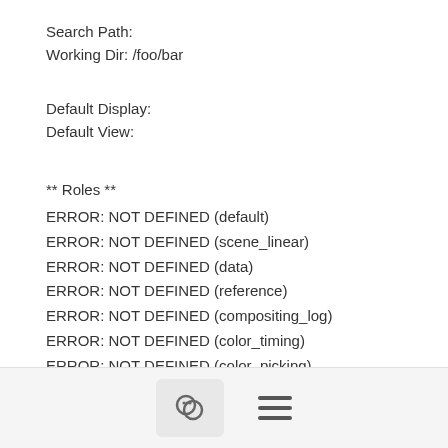Search Path:
Working Dir: /foo/bar
Default Display:
Default View:
** Roles **
ERROR: NOT DEFINED (default)
ERROR: NOT DEFINED (scene_linear)
ERROR: NOT DEFINED (data)
ERROR: NOT DEFINED (reference)
ERROR: NOT DEFINED (compositing_log)
ERROR: NOT DEFINED (color_timing)
ERROR: NOT DEFINED (color_picking)
ERROR: NOT DEFINED (texture_paint)
ERROR: NOT DEFINED (matte_paint)
** ColorSpaces **
Error: scene  linear role must be defined.
[Figure (other): Bottom navigation bar with chat bubble icon button and hamburger menu icon]